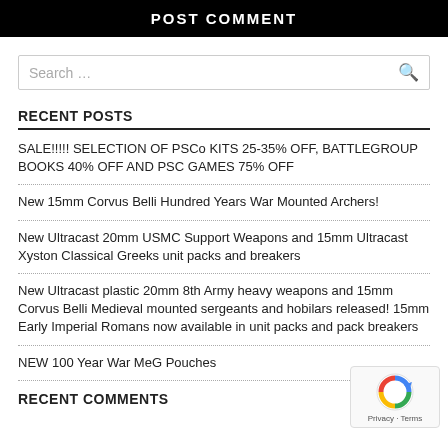POST COMMENT
Search ...
RECENT POSTS
SALE!!!!! SELECTION OF PSCo KITS 25-35% OFF, BATTLEGROUP BOOKS 40% OFF AND PSC GAMES 75% OFF
New 15mm Corvus Belli Hundred Years War Mounted Archers!
New Ultracast 20mm USMC Support Weapons and 15mm Ultracast Xyston Classical Greeks unit packs and breakers
New Ultracast plastic 20mm 8th Army heavy weapons and 15mm Corvus Belli Medieval mounted sergeants and hobilars released! 15mm Early Imperial Romans now available in unit packs and pack breakers
NEW 100 Year War MeG Pouches
RECENT COMMENTS